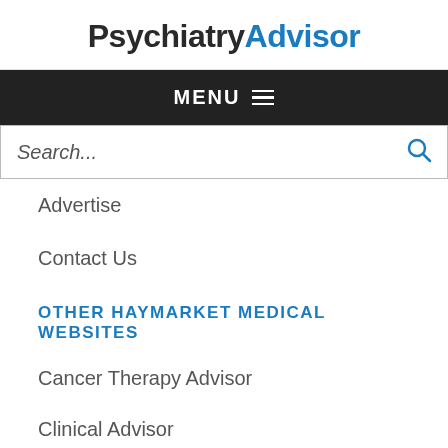PsychiatryAdvisor
MENU
Search...
Advertise
Contact Us
OTHER HAYMARKET MEDICAL WEBSITES
Cancer Therapy Advisor
Clinical Advisor
Clinical Pain Advisor